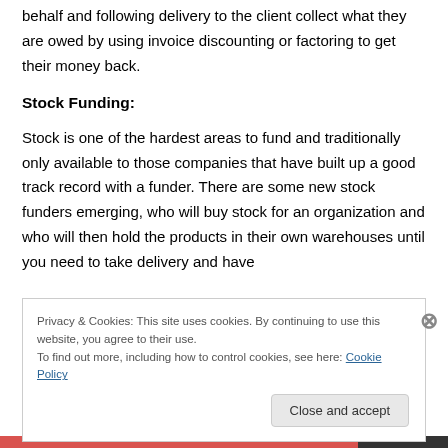behalf and following delivery to the client collect what they are owed by using invoice discounting or factoring to get their money back.
Stock Funding:
Stock is one of the hardest areas to fund and traditionally only available to those companies that have built up a good track record with a funder. There are some new stock funders emerging, who will buy stock for an organization and who will then hold the products in their own warehouses until you need to take delivery and have
Privacy & Cookies: This site uses cookies. By continuing to use this website, you agree to their use.
To find out more, including how to control cookies, see here: Cookie Policy